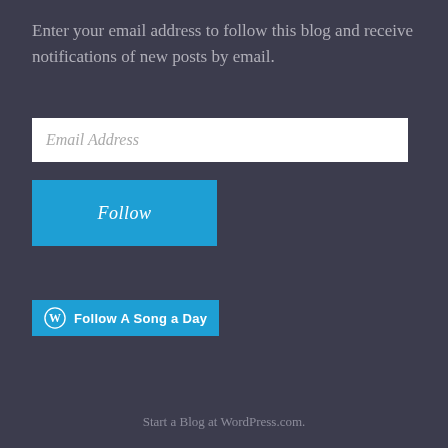Enter your email address to follow this blog and receive notifications of new posts by email.
[Figure (screenshot): White email address input field with placeholder text 'Email Address']
[Figure (screenshot): Blue 'Follow' button]
[Figure (screenshot): Blue WordPress 'Follow A Song a Day' button with WordPress logo]
Start a Blog at WordPress.com.